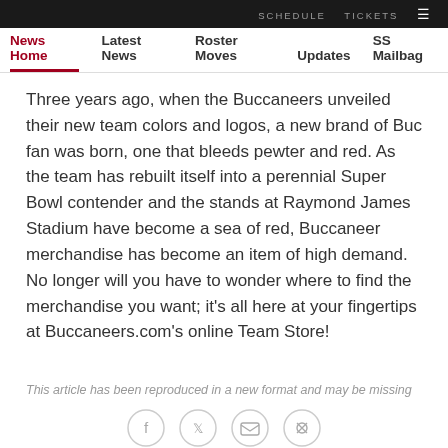News Home | Latest News | Roster Moves | Updates | SS Mailbag
Three years ago, when the Buccaneers unveiled their new team colors and logos, a new brand of Buc fan was born, one that bleeds pewter and red. As the team has rebuilt itself into a perennial Super Bowl contender and the stands at Raymond James Stadium have become a sea of red, Buccaneer merchandise has become an item of high demand. No longer will you have to wonder where to find the merchandise you want; it's all here at your fingertips at Buccaneers.com's online Team Store!
This article has been reproduced in a new format and may be missing